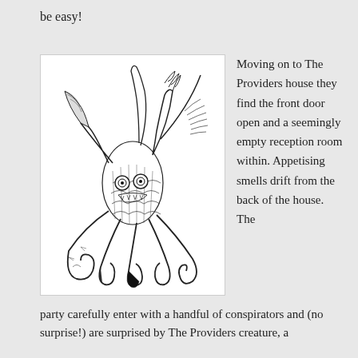be easy!
[Figure (illustration): Black and white pen illustration of a large tentacled creature resembling an octopus or cephalopod monster, with multiple tentacles, wings, claws, and large round eyes. The creature has a menacing appearance with spiky appendages and a heavily textured body.]
Moving on to The Providers house they find the front door open and a seemingly empty reception room within. Appetising smells drift from the back of the house. The
party carefully enter with a handful of conspirators and (no surprise!) are surprised by The Providers creature, a